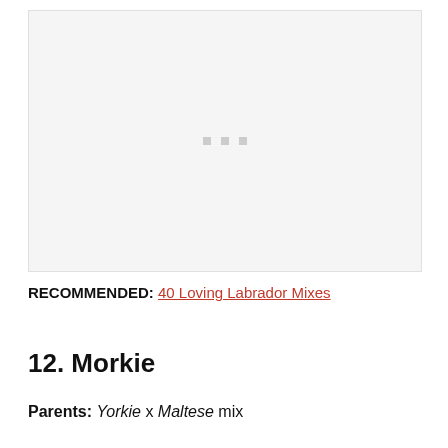[Figure (photo): Placeholder image area with three small gray squares/dots in the center, light gray background with border]
RECOMMENDED: 40 Loving Labrador Mixes
12. Morkie
Parents: Yorkie x Maltese mix